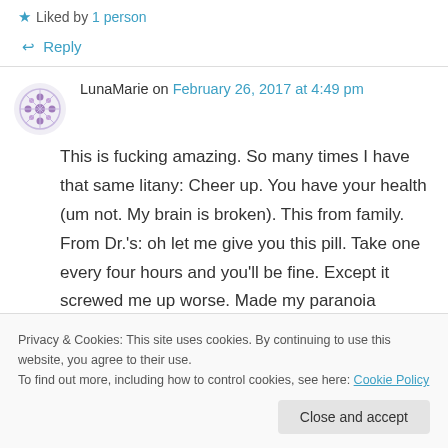★ Liked by 1 person
↩ Reply
LunaMarie on February 26, 2017 at 4:49 pm
This is fucking amazing. So many times I have that same litany: Cheer up. You have your health (um not. My brain is broken). This from family. From Dr.'s: oh let me give you this pill. Take one every four hours and you'll be fine. Except it screwed me up worse. Made my paranoia
Privacy & Cookies: This site uses cookies. By continuing to use this website, you agree to their use. To find out more, including how to control cookies, see here: Cookie Policy
Close and accept